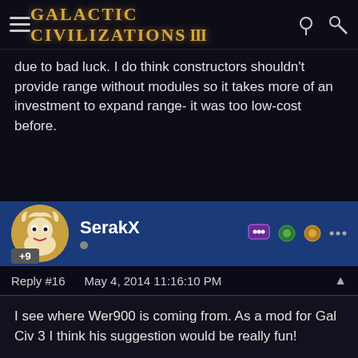Galactic Civilizations III
due to bad luck.  I do think constructors shouldn't provide range without modules so it takes more of an investment to expand range- it was too low-cost before.
SerakX
Reply #16    May 4, 2014 11:16:10 PM
I see where Wer900 is coming from. As a mod for Gal Civ 3 I think his suggestion would be really fun!
As for the standard game I think sticking to the current lore makes the most sense.
One thing I do kind of like about his idea is the whole multi-map feature. I think there's something to be said about that which could really add a whole level of smoo th